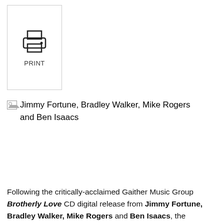[Figure (other): Print button UI element with printer icon and PRINT label inside a bordered box]
[Figure (photo): Broken image placeholder for photo of Jimmy Fortune, Bradley Walker, Mike Rogers and Ben Isaacs]
Following the critically-acclaimed Gaither Music Group Brotherly Love CD digital release from Jimmy Fortune, Bradley Walker, Mike Rogers and Ben Isaacs, the "country, bluegrass, gospel dream